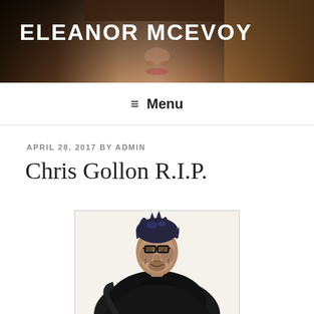[Figure (photo): Header banner with dark background showing a woman's face/portrait, with the text ELEANOR MCEVOY overlaid in white bold uppercase letters]
ELEANOR MCEVOY
≡ Menu
APRIL 28, 2017 BY ADMIN
Chris Gollon R.I.P.
[Figure (illustration): A painted portrait illustration of a man with dark spiky hair with blue tints, wearing black-rimmed glasses and a dark black coat/jacket, shown from torso up against a light background, painted in a loose expressive style]